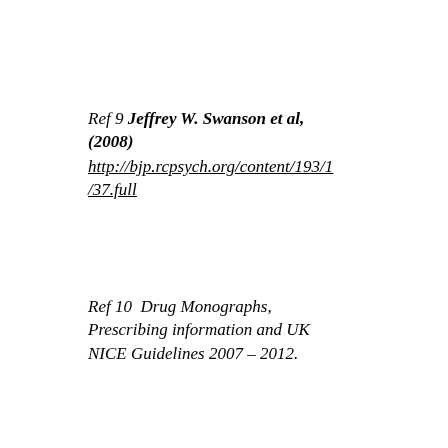Ref 9 Jeffrey W. Swanson et al, (2008) http://bjp.rcpsych.org/content/193/1/37.full
Ref 10  Drug Monographs, Prescribing information and UK NICE Guidelines 2007 – 2012.